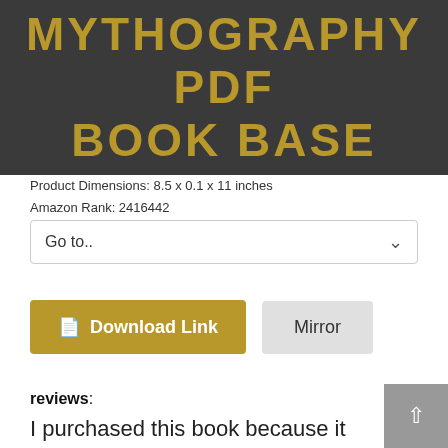MYTHOGRAPHY PDF BOOK BASE
Product Dimensions: 8.5 x 0.1 x 11 inches
Amazon Rank: 2416442
Go to..
Download Link
Mirror
reviews:
I purchased this book because it offered a free printable PDF version. However, I contacted them twice and received no reply.As for the book